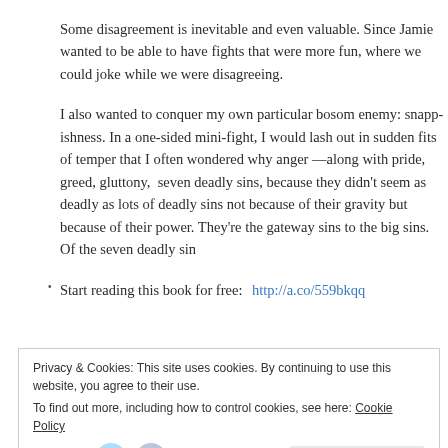Some disagreement is inevitable and even valuable. Since Jamie wanted to be able to have fights that were more fun, where we could joke while we were disagreeing.
I also wanted to conquer my own particular bosom enemy: snappishness. In a one-sided mini-fight, I would lash out in sudden fits of temper that I often wondered why anger —along with pride, greed, gluttony, seven deadly sins, because they didn't seem as deadly as lots of deadly sins not because of their gravity but because of their power. They're the gateway sins to the big sins. Of the seven deadly sin
Start reading this book for free: http://a.co/559bkqq
Privacy & Cookies: This site uses cookies. By continuing to use this website, you agree to their use. To find out more, including how to control cookies, see here: Cookie Policy